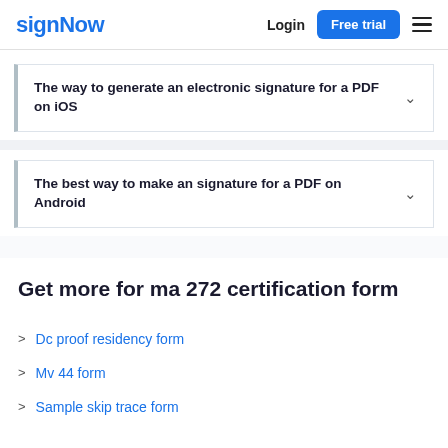signNow | Login | Free trial
The way to generate an electronic signature for a PDF on iOS
The best way to make an signature for a PDF on Android
Get more for ma 272 certification form
Dc proof residency form
Mv 44 form
Sample skip trace form